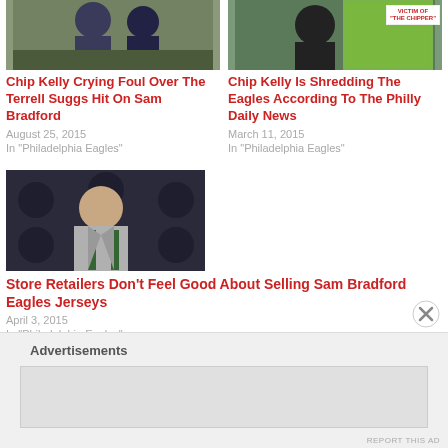[Figure (photo): Sports photo - Chip Kelly / football players, partial top crop]
Chip Kelly Crying Foul Over The Terrell Suggs Hit On Sam Bradford
August 25, 2015
In "Philadelphia Eagles"
[Figure (photo): Chip Kelly related photo with 'VICTIM OF THE CHIPPER' label]
Chip Kelly Is Shredding The Eagles According To The Philly Daily News
March 11, 2015
In "Philadelphia Eagles"
[Figure (photo): Man in suit smiling in front of Philadelphia Eagles logo backdrop]
Store Retailers Don’t Feel Good About Selling Sam Bradford Eagles Jerseys
April 3, 2015
In "Philadelphia Eagles"
Advertisements